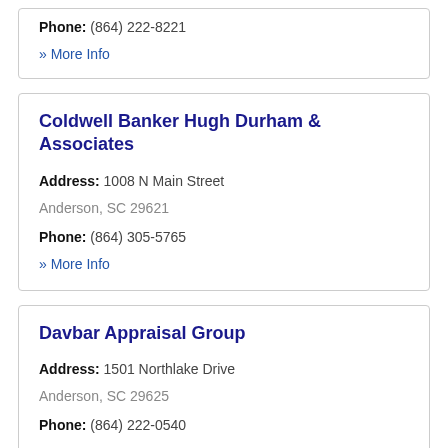Phone: (864) 222-8221
» More Info
Coldwell Banker Hugh Durham & Associates
Address: 1008 N Main Street
Anderson, SC 29621
Phone: (864) 305-5765
» More Info
Davbar Appraisal Group
Address: 1501 Northlake Drive
Anderson, SC 29625
Phone: (864) 222-0540